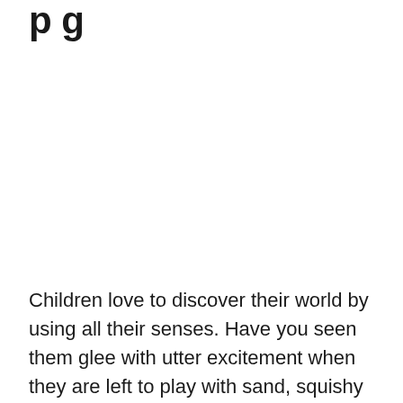p g
Children love to discover their world by using all their senses. Have you seen them glee with utter excitement when they are left to play with sand, squishy toys such as slime, or rattles? It is all because children use their senses to explore the world around them. For them